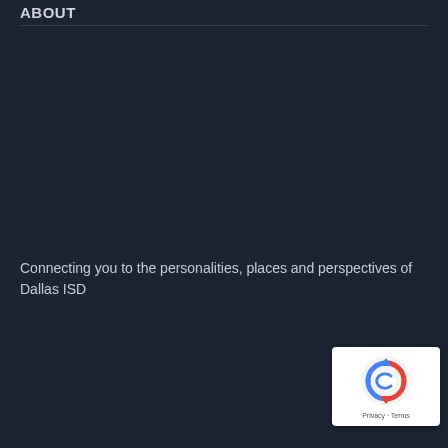ABOUT
Connecting you to the personalities, places and perspectives of Dallas ISD
[Figure (logo): Google reCAPTCHA badge with logo and Privacy/Terms links]